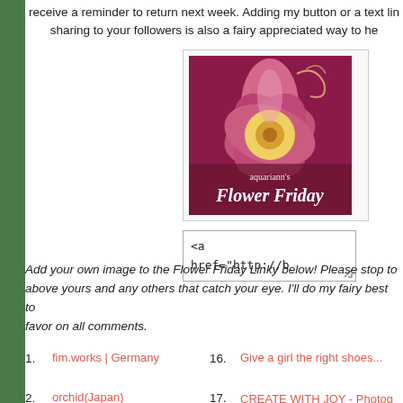receive a reminder to return next week. Adding my button or a text lin sharing to your followers is also a fairy appreciated way to he
[Figure (illustration): Flower Friday button image showing a pink/magenta flower with yellow center, text reads 'aquariann’s Flower Friday']
<a
href="http://b
Add your own image to the Flower Friday Linky below! Please stop to above yours and any others that catch your eye. I'll do my fairy best to favor on all comments.
1. fim.works | Germany
2. orchid(Japan)
3. Jutta K. Germany
16. Give a girl the right shoes...
17. CREATE WITH JOY - Photog Up
18. Family Day with linky